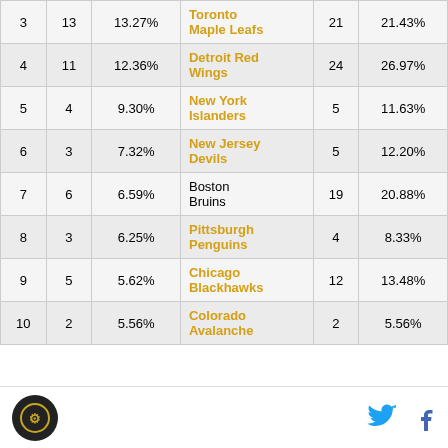| 3 | 13 | 13.27% | Toronto Maple Leafs | 21 | 21.43% |
| 4 | 11 | 12.36% | Detroit Red Wings | 24 | 26.97% |
| 5 | 4 | 9.30% | New York Islanders | 5 | 11.63% |
| 6 | 3 | 7.32% | New Jersey Devils | 5 | 12.20% |
| 7 | 6 | 6.59% | Boston Bruins | 19 | 20.88% |
| 8 | 3 | 6.25% | Pittsburgh Penguins | 4 | 8.33% |
| 9 | 5 | 5.62% | Chicago Blackhawks | 12 | 13.48% |
| 10 | 2 | 5.56% | Colorado Avalanche | 2 | 5.56% |